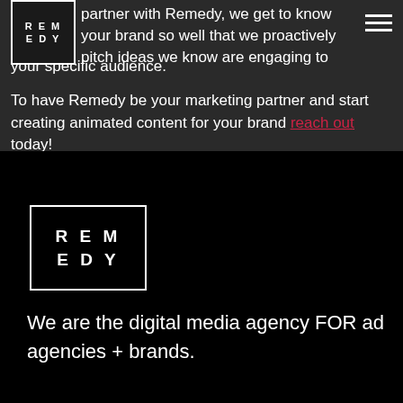[Figure (logo): Remedy agency logo — white bordered rectangle with REM EDY text on dark background, top left of page header]
[Figure (other): Hamburger menu icon — three horizontal white lines, top right corner]
partner with Remedy, we get to know your brand so well that we proactively pitch ideas we know are engaging to your specific audience.
To have Remedy be your marketing partner and start creating animated content for your brand reach out today!
[Figure (logo): Remedy agency logo — large white bordered rectangle with R E M E D Y spaced bold text on black background]
We are the digital media agency FOR ad agencies + brands.